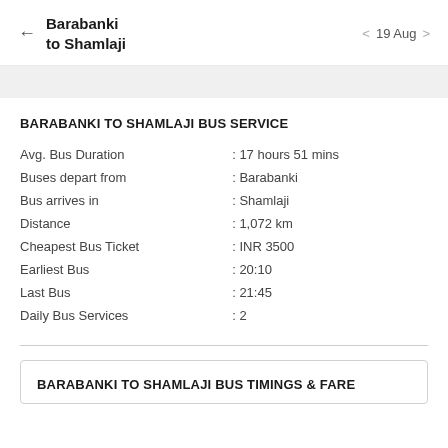← Barabanki to Shamlaji   < 19 Aug >
BARABANKI TO SHAMLAJI BUS SERVICE
| Avg. Bus Duration | : 17 hours 51 mins |
| Buses depart from | : Barabanki |
| Bus arrives in | : Shamlaji |
| Distance | : 1,072 km |
| Cheapest Bus Ticket | : INR 3500 |
| Earliest Bus | : 20:10 |
| Last Bus | : 21:45 |
| Daily Bus Services | : 2 |
BARABANKI TO SHAMLAJI BUS TIMINGS & FARE